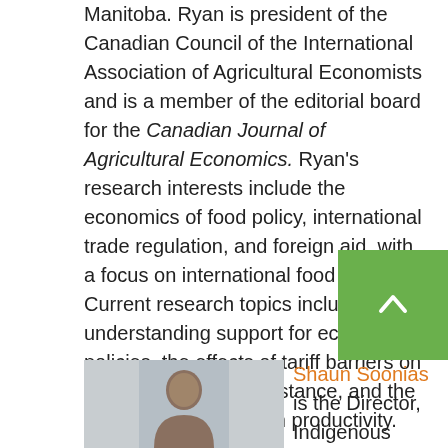Manitoba. Ryan is president of the Canadian Council of the International Association of Agricultural Economists and is a member of the editorial board for the Canadian Journal of Agricultural Economics. Ryan's research interests include the economics of food policy, international trade regulation, and foreign aid, with a focus on international food aid. Current research topics include understanding support for economic policies, the effects of tariff barriers on international food assistance, and the effects of regulation on productivity.
[Figure (photo): Headshot photo of Shaun Soonias, a man with dark hair, against a grey background.]
Shaun Soonias is the Director, Indigenous